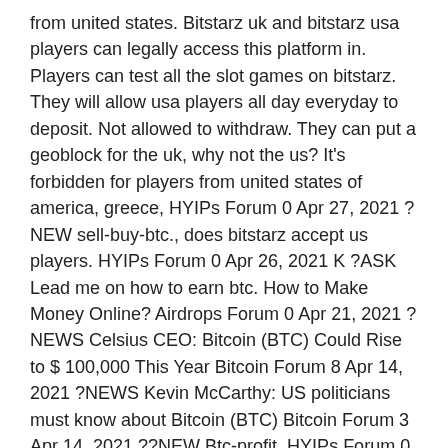from united states. Bitstarz uk and bitstarz usa players can legally access this platform in. Players can test all the slot games on bitstarz. They will allow usa players all day everyday to deposit. Not allowed to withdraw. They can put a geoblock for the uk, why not the us? It's forbidden for players from united states of america, greece, HYIPs Forum 0 Apr 27, 2021 ?NEW sell-buy-btc., does bitstarz accept us players. HYIPs Forum 0 Apr 26, 2021 K ?ASK Lead me on how to earn btc. How to Make Money Online? Airdrops Forum 0 Apr 21, 2021 ? NEWS Celsius CEO: Bitcoin (BTC) Could Rise to $ 100,000 This Year Bitcoin Forum 8 Apr 14, 2021 ?NEWS Kevin McCarthy: US politicians must know about Bitcoin (BTC) Bitcoin Forum 3 Apr 14, 2021 ??NEW Btc-profit. HYIPs Forum 0 Apr 14, 2021 ??NEW Btc-invest.